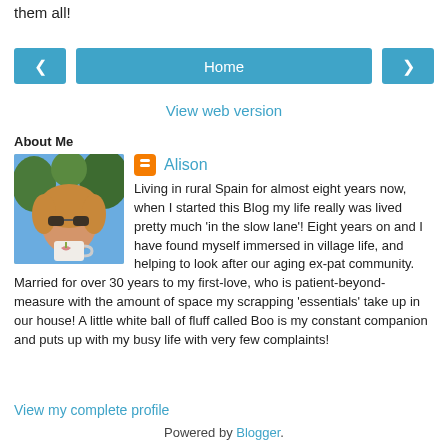them all!
[Figure (screenshot): Navigation bar with left arrow button, Home button, and right arrow button, all in blue]
View web version
About Me
[Figure (photo): Profile photo of Alison, a woman with blonde hair wearing sunglasses, holding a mug outdoors]
Alison
Living in rural Spain for almost eight years now, when I started this Blog my life really was lived pretty much 'in the slow lane'! Eight years on and I have found myself immersed in village life, and helping to look after our aging ex-pat community. Married for over 30 years to my first-love, who is patient-beyond-measure with the amount of space my scrapping 'essentials' take up in our house! A little white ball of fluff called Boo is my constant companion and puts up with my busy life with very few complaints!
View my complete profile
Powered by Blogger.